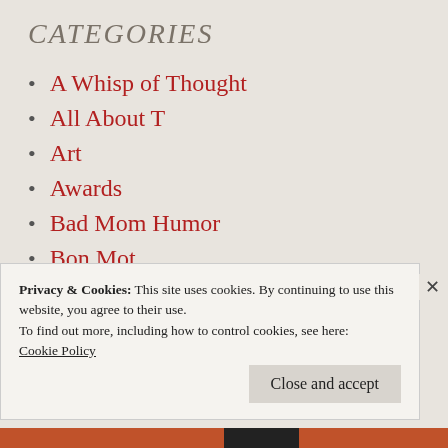CATEGORIES
A Whisp of Thought
All About T
Art
Awards
Bad Mom Humor
Bon Mot
Collaborative Work
Confessions & Conversations
Privacy & Cookies: This site uses cookies. By continuing to use this website, you agree to their use.
To find out more, including how to control cookies, see here: Cookie Policy
Close and accept